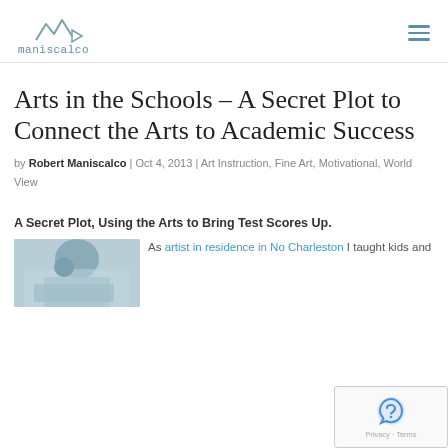[Figure (logo): Maniscalco website logo with stylized 'M' and handwritten text 'maniscalco']
Arts in the Schools – A Secret Plot to Connect the Arts to Academic Success
by Robert Maniscalco | Oct 4, 2013 | Art Instruction, Fine Art, Motivational, World View
A Secret Plot, Using the Arts to Bring Test Scores Up.
[Figure (photo): Photo of a child or person working on an art or school activity, viewed from above]
As artist in residence in No Charleston I taught kids and